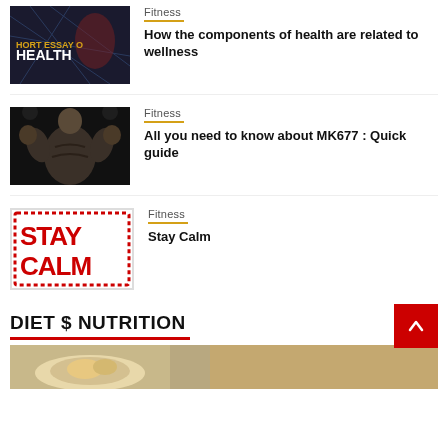[Figure (photo): Thumbnail image with text 'SHORT ESSAY ON HEALTH' on dark background]
Fitness
How the components of health are related to wellness
[Figure (photo): Bodybuilder from behind flexing muscles in gym]
Fitness
All you need to know about MK677 : Quick guide
[Figure (photo): Stay Calm stamp text in red on white background]
Fitness
Stay Calm
DIET $ NUTRITION
[Figure (photo): Food image strip at bottom of page]